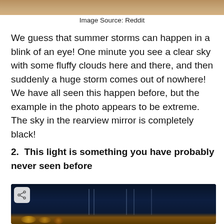[Figure (photo): Top strip of a photo showing what appears to be a sandy/earthy landscape, cropped at the very top of the page.]
Image Source: Reddit
We guess that summer storms can happen in a blink of an eye! One minute you see a clear sky with some fluffy clouds here and there, and then suddenly a huge storm comes out of nowhere! We have all seen this happen before, but the example in the photo appears to be extreme. The sky in the rearview mirror is completely black!
2.  This light is something you have probably never seen before
[Figure (photo): A dark night sky photo with light pillars/columns of light visible against a deep navy blue sky, with warm golden/orange lights visible near the bottom of the image. A small share button icon is visible in the top-left corner.]